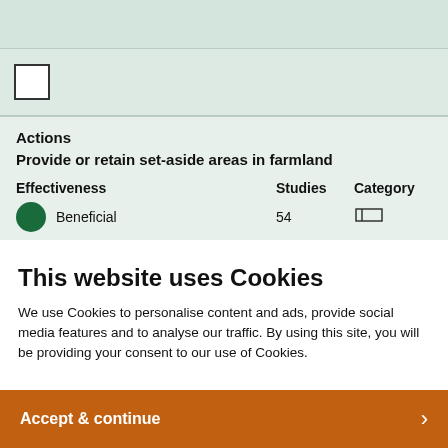[Figure (screenshot): Top grey-green banner area of website]
[Figure (screenshot): Checkbox element in light green card area]
Actions
Provide or retain set-aside areas in farmland
| Effectiveness | Studies | Category |
| --- | --- | --- |
| Beneficial | 54 |  |
This website uses Cookies
We use Cookies to personalise content and ads, provide social media features and to analyse our traffic. By using this site, you will be providing your consent to our use of Cookies.
Accept & continue